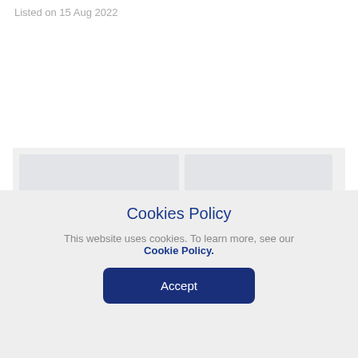Listed on 15 Aug 2022
[Figure (screenshot): Blurred/placeholder image area showing two grey rectangles side by side on a light grey background]
Cookies Policy
This website uses cookies. To learn more, see our
Cookie Policy.
Accept